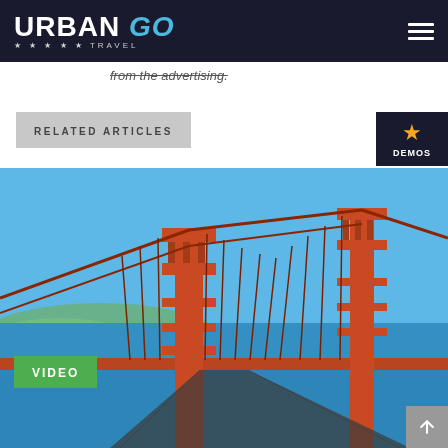URBAN GO TRAVEL
from the advertising.
RELATED ARTICLES
[Figure (photo): Aerial view of the Golden Gate Bridge in San Francisco with blue water and hills in the background, with a VIDEO label badge in the upper left]
DEMOS